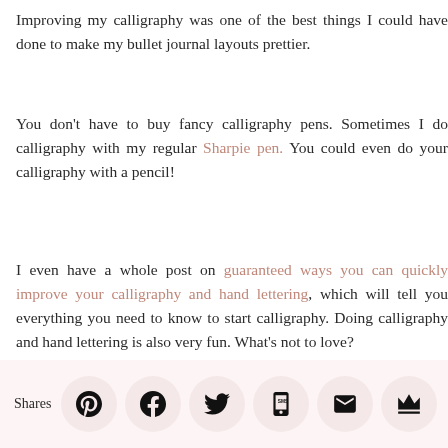Improving my calligraphy was one of the best things I could have done to make my bullet journal layouts prettier.
You don't have to buy fancy calligraphy pens. Sometimes I do calligraphy with my regular Sharpie pen. You could even do your calligraphy with a pencil!
I even have a whole post on guaranteed ways you can quickly improve your calligraphy and hand lettering, which will tell you everything you need to know to start calligraphy. Doing calligraphy and hand lettering is also very fun. What's not to love?
Shares [Pinterest] [Facebook] [Twitter] [SMS] [Email] [Other]